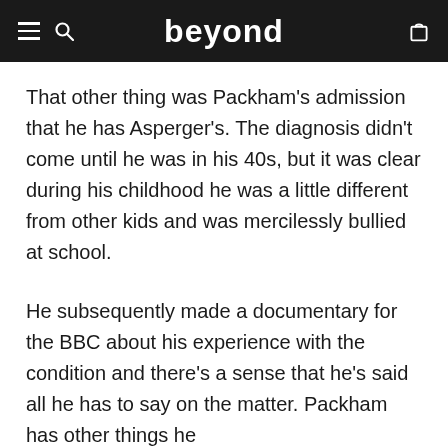beyond
That other thing was Packham's admission that he has Asperger's. The diagnosis didn't come until he was in his 40s, but it was clear during his childhood he was a little different from other kids and was mercilessly bullied at school.
He subsequently made a documentary for the BBC about his experience with the condition and there's a sense that he's said all he has to say on the matter. Packham has other things he